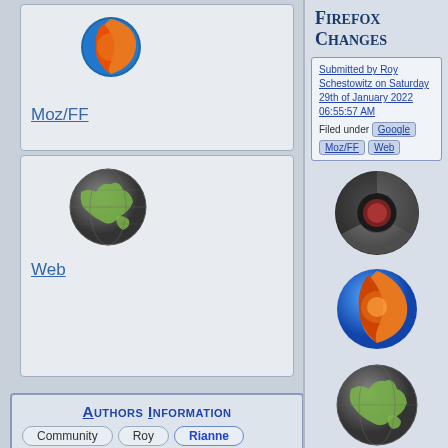[Figure (logo): Firefox logo - flame fox around globe]
Moz/FF
[Figure (logo): Web globe icon - grey and green globe]
Web
Authors Information
Community	Roy
Rianne	You
Rianne Schestowitz
[Figure (photo): Photo of Rianne Schestowitz - woman with dark hair]
Latest posts | Profile
Short bio: Computer Scientist, FOSS supporter (read
Firefox Changes
Submitted by Roy Schestowitz on Saturday 29th of January 2022 06:55:57 AM
Filed under Google Moz/FF Web
[Figure (logo): Chrome browser logo - dark circular chrome icon]
[Figure (logo): Firefox browser logo - orange flame fox]
[Figure (logo): Web globe icon - grey and green globe]